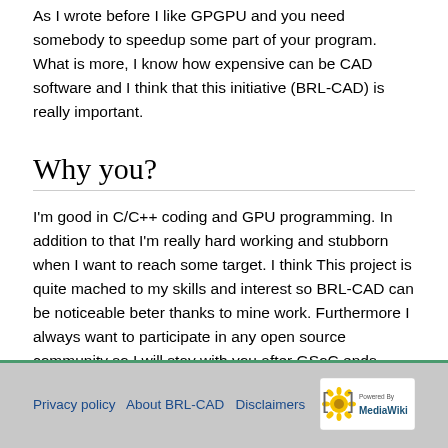As I wrote before I like GPGPU and you need somebody to speedup some part of your program. What is more, I know how expensive can be CAD software and I think that this initiative (BRL-CAD) is really important.
Why you?
I'm good in C/C++ coding and GPU programming. In addition to that I'm really hard working and stubborn when I want to reach some target. I think This project is quite mached to my skills and interest so BRL-CAD can be noticeable beter thanks to mine work. Furthermore I always want to participate in any open source community so I will stay with you after GSoC ends.
Privacy policy   About BRL-CAD   Disclaimers